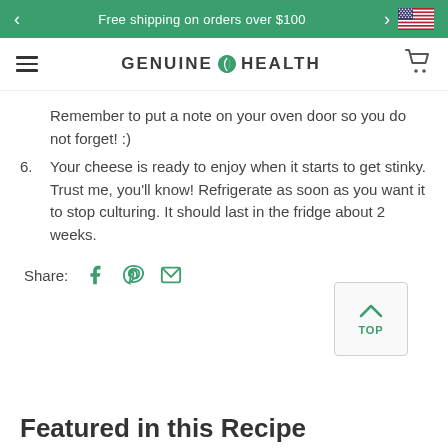Free shipping on orders over $100
[Figure (logo): Genuine Health logo with green leaf icon]
Remember to put a note on your oven door so you do not forget! :)
6. Your cheese is ready to enjoy when it starts to get stinky. Trust me, you'll know! Refrigerate as soon as you want it to stop culturing. It should last in the fridge about 2 weeks.
Share:
Featured in this Recipe